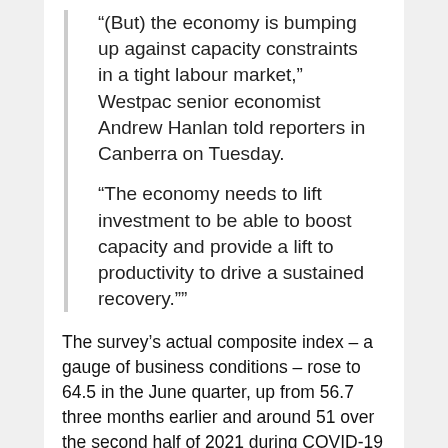“(But) the economy is bumping up against capacity constraints in a tight labour market,” Westpac senior economist Andrew Hanlan told reporters in Canberra on Tuesday.
“The economy needs to lift investment to be able to boost capacity and provide a lift to productivity to drive a sustained recovery.””
The survey’s actual composite index – a gauge of business conditions – rose to 64.5 in the June quarter, up from 56.7 three months earlier and around 51 over the second half of 2021 during COVID-19 Delta lockdowns.